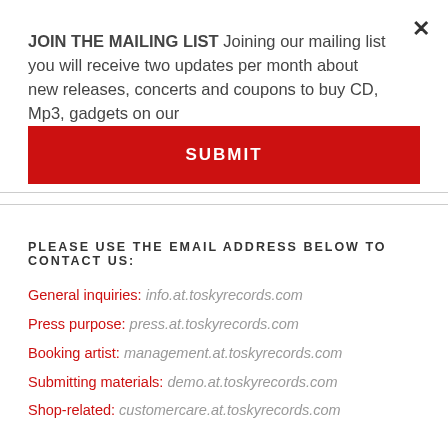JOIN THE MAILING LIST Joining our mailing list you will receive two updates per month about new releases, concerts and coupons to buy CD, Mp3, gadgets on our
SUBMIT
PLEASE USE THE EMAIL ADDRESS BELOW TO CONTACT US:
General inquiries: info.at.toskyrecords.com
Press purpose: press.at.toskyrecords.com
Booking artist: management.at.toskyrecords.com
Submitting materials: demo.at.toskyrecords.com
Shop-related: customercare.at.toskyrecords.com